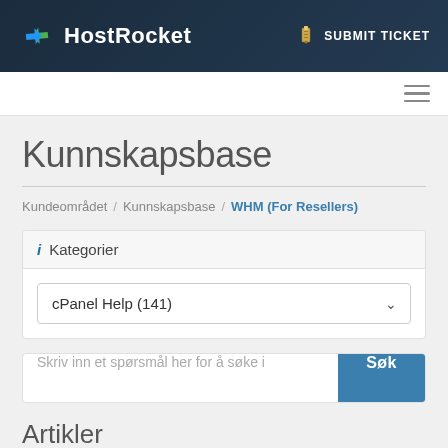HostRocket — SUBMIT TICKET
Kunnskapsbase
Kundeområdet / Kunnskapsbase / WHM (For Resellers)
Kategorier
cPanel Help (141)
Skriv inn et spørsmål her for å søke i
Artikler